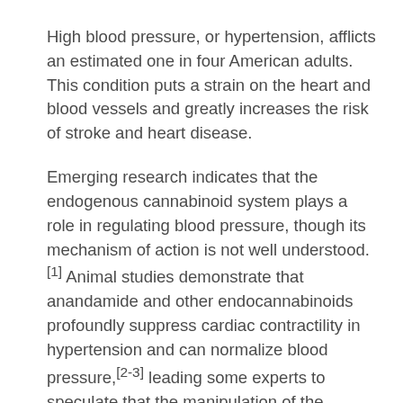High blood pressure, or hypertension, afflicts an estimated one in four American adults. This condition puts a strain on the heart and blood vessels and greatly increases the risk of stroke and heart disease.
Emerging research indicates that the endogenous cannabinoid system plays a role in regulating blood pressure, though its mechanism of action is not well understood.[1] Animal studies demonstrate that anandamide and other endocannabinoids profoundly suppress cardiac contractility in hypertension and can normalize blood pressure,[2-3] leading some experts to speculate that the manipulation of the endocannabinoid system